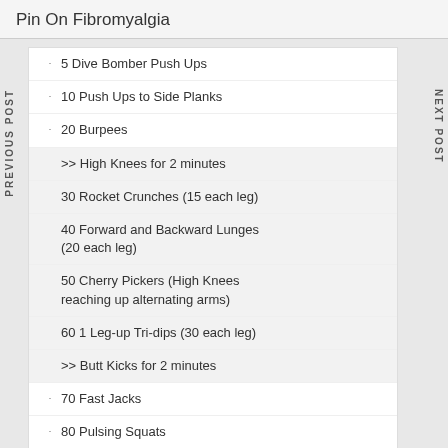Pin On Fibromyalgia
5 Dive Bomber Push Ups
10 Push Ups to Side Planks
20 Burpees
>> High Knees for 2 minutes
30 Rocket Crunches (15 each leg)
40 Forward and Backward Lunges (20 each leg)
50 Cherry Pickers (High Knees reaching up alternating arms)
60 1 Leg-up Tri-dips (30 each leg)
>> Butt Kicks for 2 minutes
70 Fast Jacks
80 Pulsing Squats
90 Mountain Climbers
>> Hold Plank 2 minutes